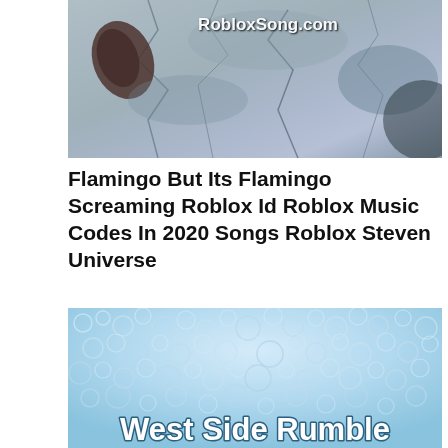[Figure (photo): Cracked, peeling paint or wall texture in grey and blue tones with a dark reddish-brown leaf visible. Watermark text 'RobloxSong.com' in white in the upper right.]
Flamingo But Its Flamingo Screaming Roblox Id Roblox Music Codes In 2020 Songs Roblox Steven Universe
[Figure (photo): Close-up texture of light blue bubble wrap or frosted glass surface with irregular circular patterns. Text overlay at bottom reads 'West Side Rumble' in bold white letters.]